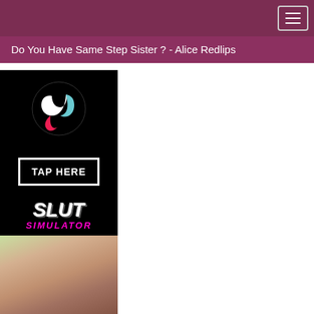Do You Have Same Step Sister ? - Alice Redlips
[Figure (screenshot): TikTok logo circular icon on black background]
TAP HERE
[Figure (screenshot): Slut Simulator game advertisement with stylized text and finger/hand imagery on black background]